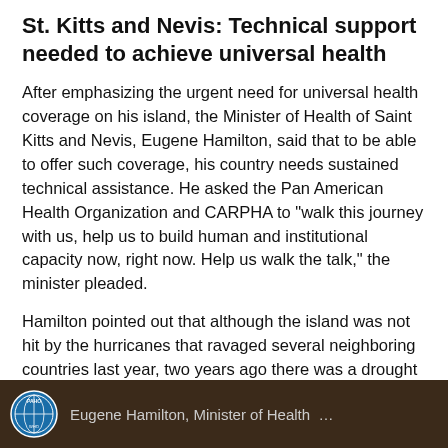St. Kitts and Nevis: Technical support needed to achieve universal health
After emphasizing the urgent need for universal health coverage on his island, the Minister of Health of Saint Kitts and Nevis, Eugene Hamilton, said that to be able to offer such coverage, his country needs sustained technical assistance. He asked the Pan American Health Organization and CARPHA to "walk this journey with us, help us to build human and institutional capacity now, right now. Help us walk the talk," the minister pleaded.
Hamilton pointed out that although the island was not hit by the hurricanes that ravaged several neighboring countries last year, two years ago there was a drought that reduced crop production by 32%. "This means that we [have] not graduated; we are vulnerable," he said.
[Figure (photo): Dark brown banner image strip at the bottom showing a PAHO/WHO circular logo on the left and partially visible caption text: Eugene Hamilton, Minister of Health...]